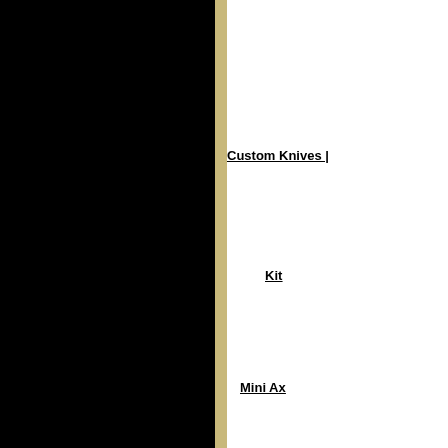[Figure (photo): Black panel on the left side of the page, separated by a tan/gold vertical divider stripe]
Custom Knives |
Kit
Mini Ax
K